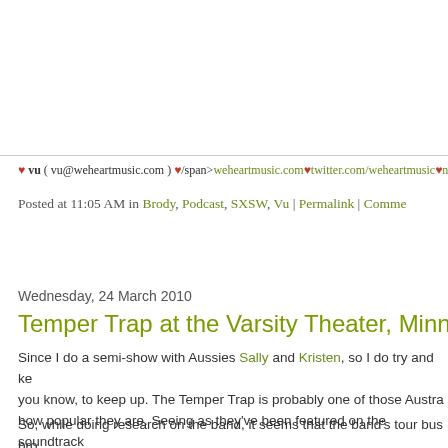♥ vu ( vu@weheartmusic.com ) ♥/span>weheartmusic.com♥twitter.com/weheartmusic♥news
Posted at 11:05 AM in Brody, Podcast, SXSW, Vu | Permalink | Comme
Reblog (0)
Wednesday, 24 March 2010
Temper Trap at the Varsity Theater, Minneapoli
Since I do a semi-show with Aussies Sally and Kristen, so I do try and ke you know, to keep up. The Temper Trap is probably one of those Austra how popular they are. Seeing as they've been featured on the soundtrack and had several nominations for ARIA awards, they seem worth checkin this attention if they weren't any good right?
So, while doing research on the band, it seems that the band's tour bus bro twitter: